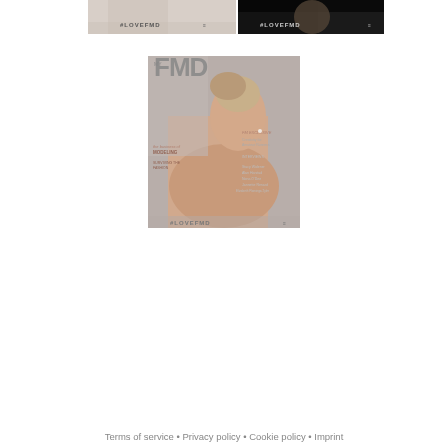[Figure (photo): Two cropped magazine covers side by side at top, each showing #LOVEFMD branding; left shows a woman in light clothing, right shows a woman with dark feathered headpiece against black background.]
[Figure (photo): FMD magazine cover featuring a blonde woman with an upswept hairdo, bare back, pearl earring, looking over her shoulder. Cover text includes #LOVEFMD and various article titles and contributor names.]
Terms of service • Privacy policy • Cookie policy • Imprint